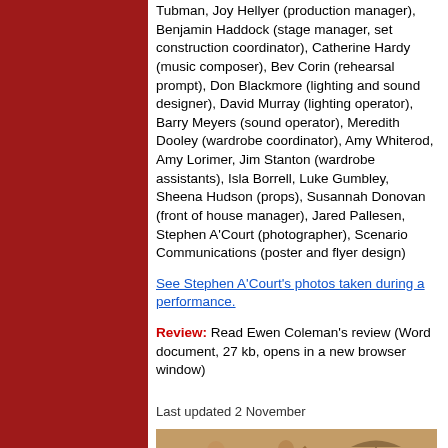Tubman, Joy Hellyer (production manager), Benjamin Haddock (stage manager, set construction coordinator), Catherine Hardy (music composer), Bev Corin (rehearsal prompt), Don Blackmore (lighting and sound designer), David Murray (lighting operator), Barry Meyers (sound operator), Meredith Dooley (wardrobe coordinator), Amy Whiterod, Amy Lorimer, Jim Stanton (wardrobe assistants), Isla Borrell, Luke Gumbley, Sheena Hudson (props), Susannah Donovan (front of house manager), Jared Pallesen, Stephen A'Court (photographer), Scenario Communications (poster and flyer design)
See Stephen A'Court's photos taken during a performance.
Review: Read Ewen Coleman's review (Word document, 27 kb, opens in a new browser window)
Last updated 2 November
[Figure (photo): Sepia-toned photograph showing theatrical performers on stage, including figures with a person in center, one raising an arm, and another to the right near a prop resembling a lamp or umbrella]